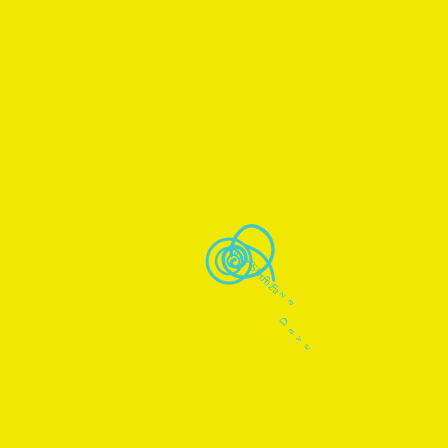[Figure (logo): Dave Sponza logo: a teal/cyan spiral shell icon with the text 'Dave Sponza' written vertically alongside it, rotated approximately -45 degrees, on a bright yellow background]